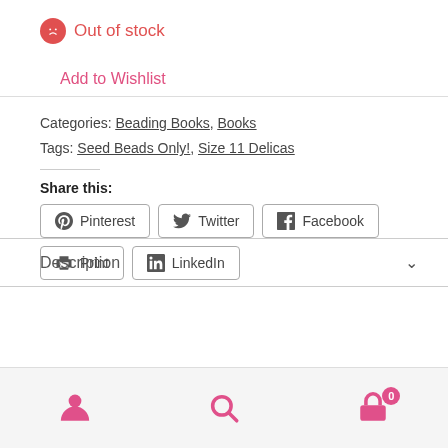Out of stock
Add to Wishlist
Categories: Beading Books, Books
Tags: Seed Beads Only!, Size 11 Delicas
Share this:
Pinterest  Twitter  Facebook  Print  LinkedIn
Description
[Figure (other): Bottom navigation bar with user icon, search icon, and cart icon with badge showing 0]